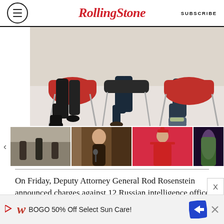RollingStone — SUBSCRIBE
[Figure (photo): Three people seated in red chairs photographed from waist down, showing legs, shoes and chairs against a white background]
[Figure (photo): Thumbnail row: panel discussion, woman singing, performer in Santa outfit, concert performer in yellow]
On Friday, Deputy Attorney General Rod Rosenstein announced charges against 12 Russian intelligence officers for hacking Hillary Clinton's campaign and other Democratic organizations prior to the 2016 election. The
BOGO 50% Off Select Sun Care!